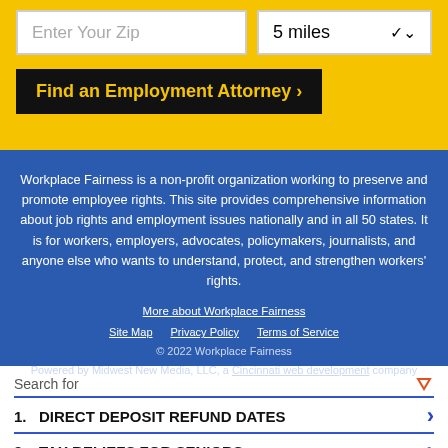[Figure (screenshot): Zip code input field with placeholder 'Enter Your Zip' and a miles dropdown showing '5 miles' with chevron]
[Figure (screenshot): Black button with yellow bold text 'Find an Employment Attorney >']
Workplace Fairness is a non-profit organization working to preserve and promote employee rights. This site provides comprehensive information about job rights and employment issues nationally and in all 50 states. It is for workers, employers, advocates, policymakers, journalists, and anyone else who wants to understand, protect, and strengthen workers' rights.
More about Workplace Fairness
Site Map   Privacy Policy   Terms of Service
© 2022 Workplace Fairness
Powered by Midwest New Media, LLC, a Cincinnati web development company
Search for
1. DIRECT DEPOSIT REFUND DATES
2. TAX RELIEFS FOR SENIORS
Yahoo! Search | Sponsored